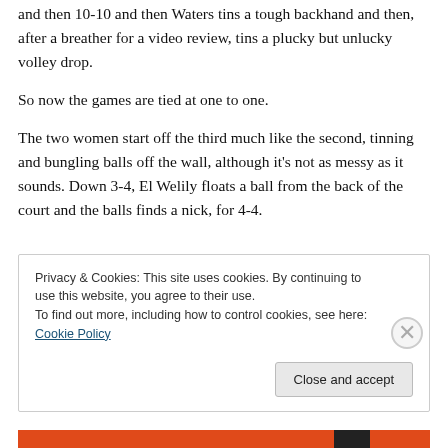and then 10-10 and then Waters tins a tough backhand and then, after a breather for a video review, tins a plucky but unlucky volley drop.
So now the games are tied at one to one.
The two women start off the third much like the second, tinning and bungling balls off the wall, although it's not as messy as it sounds. Down 3-4, El Welily floats a ball from the back of the court and the balls finds a nick, for 4-4.
Privacy & Cookies: This site uses cookies. By continuing to use this website, you agree to their use.
To find out more, including how to control cookies, see here: Cookie Policy
Close and accept